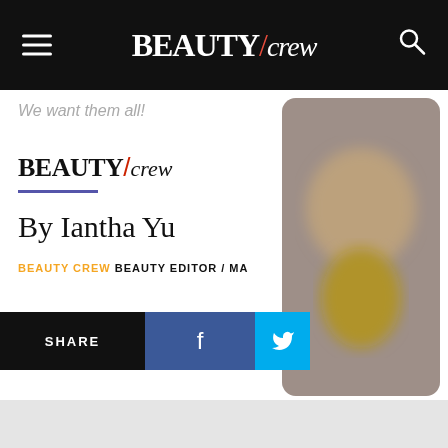BEAUTY/crew
We want them all!
[Figure (logo): BEAUTY/crew logo in black serif and italic lettering]
By Iantha Yu
BEAUTY CREW BEAUTY EDITOR / MA
[Figure (photo): Blurred product photo on the right side]
SHARE  f